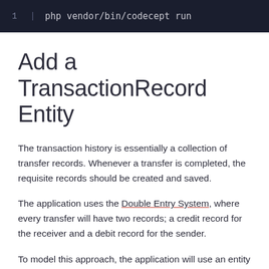[Figure (screenshot): Code block showing: 1 | php vendor/bin/codecept run]
Add a TransactionRecord Entity
The transaction history is essentially a collection of transfer records. Whenever a transfer is completed, the requisite records should be created and saved.
The application uses the Double Entry System, where every transfer will have two records; a credit record for the receiver and a debit record for the sender.
To model this approach, the application will use an entity named TransactionRecord. This entity will have the following fields: